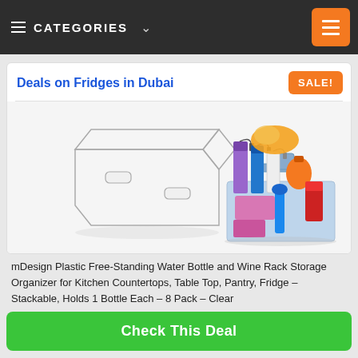CATEGORIES
Deals on Fridges in Dubai
[Figure (photo): Product photo showing a clear plastic fridge/pantry storage bin organizer and a caddy organizer filled with cleaning supplies including spray bottles, gloves, and cleaning products.]
mDesign Plastic Free-Standing Water Bottle and Wine Rack Storage Organizer for Kitchen Countertops, Table Top, Pantry, Fridge – Stackable, Holds 1 Bottle Each – 8 Pack – Clear
Check This Deal